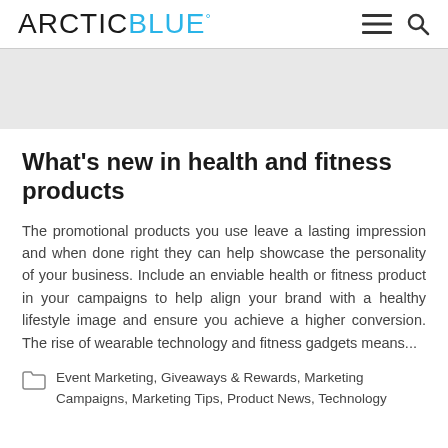ARCTIC BLUE°
What's new in health and fitness products
The promotional products you use leave a lasting impression and when done right they can help showcase the personality of your business. Include an enviable health or fitness product in your campaigns to help align your brand with a healthy lifestyle image and ensure you achieve a higher conversion. The rise of wearable technology and fitness gadgets means...
Event Marketing, Giveaways & Rewards, Marketing Campaigns, Marketing Tips, Product News, Technology